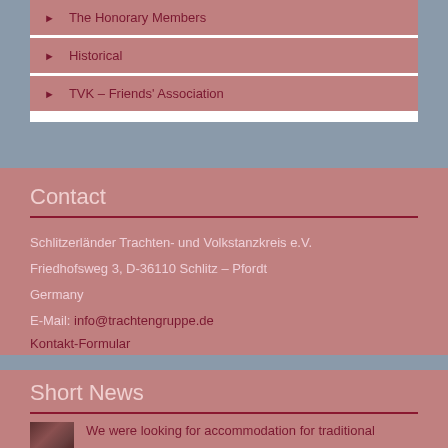The Honorary Members
Historical
TVK – Friends' Association
Contact
Schlitzerländer Trachten- und Volkstanzkreis e.V.
Friedhofsweg 3, D-36110 Schlitz – Pfordt
Germany
E-Mail: info@trachtengruppe.de
Kontakt-Formular
Short News
We were looking for accommodation for traditional